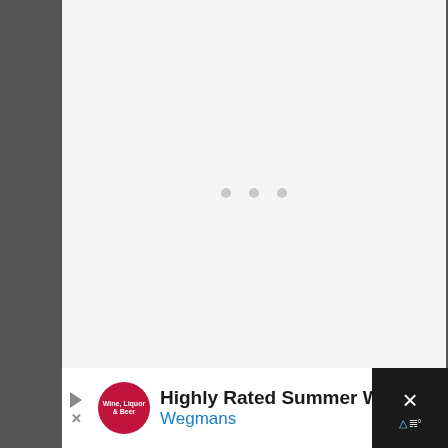[Figure (other): Loading screen with light gray background and three small gray dots in the center, indicating a loading state]
[Figure (other): Advertisement banner for Wegmans Wine, Liquor & Beer featuring text 'Highly Rated Summer Wines' and brand name 'Wegmans' with a circular red logo and blue navigation arrow icon, on dark background with close button]